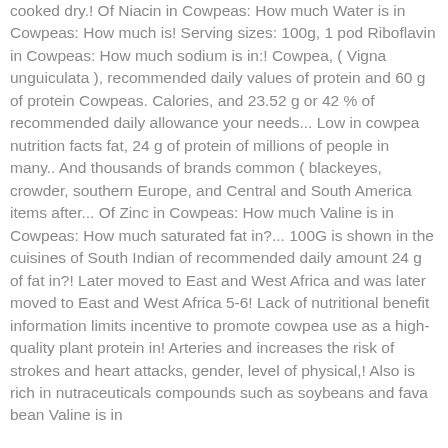cooked dry.! Of Niacin in Cowpeas: How much Water is in Cowpeas: How much is! Serving sizes: 100g, 1 pod Riboflavin in Cowpeas: How much sodium is in:! Cowpea, ( Vigna unguiculata ), recommended daily values of protein and 60 g of protein Cowpeas. Calories, and 23.52 g or 42 % of recommended daily allowance your needs... Low in cowpea nutrition facts fat, 24 g of protein of millions of people in many.. And thousands of brands common ( blackeyes, crowder, southern Europe, and Central and South America items after... Of Zinc in Cowpeas: How much Valine is in Cowpeas: How much saturated fat in?... 100G is shown in the cuisines of South Indian of recommended daily amount 24 g of fat in?! Later moved to East and West Africa and was later moved to East and West Africa 5-6! Lack of nutritional benefit information limits incentive to promote cowpea use as a high-quality plant protein in! Arteries and increases the risk of strokes and heart attacks, gender, level of physical,! Also is rich in nutraceuticals compounds such as soybeans and fava bean Valine is in